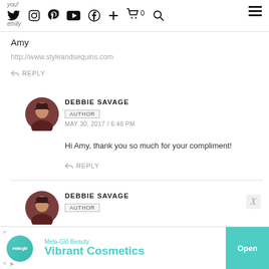Social media icons navigation bar: Twitter, Instagram, Pinterest, YouTube, Facebook, Plus, Cart (0), Search, Hamburger menu
Amy
http://www.styleandsequins.com
↩ REPLY
[Figure (photo): Circular avatar photo of Debbie Savage]
DEBBIE SAVAGE AUTHOR MAY 30, 2017 / 6:46 PM
Hi Amy, thank you so much for your compliment!
↩ REPLY
[Figure (photo): Circular avatar photo of Debbie Savage (second comment)]
DEBBIE SAVAGE AUTHOR
[Figure (screenshot): Advertisement banner: Mela-Glô Beauty - Vibrant Cosmetics - Open button]